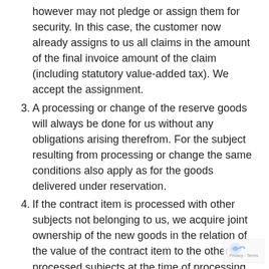however may not pledge or assign them for security. In this case, the customer now already assigns to us all claims in the amount of the final invoice amount of the claim (including statutory value-added tax). We accept the assignment.
3. A processing or change of the reserve goods will always be done for us without any obligations arising therefrom. For the subject resulting from processing or change the same conditions also apply as for the goods delivered under reservation.
4. If the contract item is processed with other subjects not belonging to us, we acquire joint ownership of the new goods in the relation of the value of the contract item to the other processed subjects at the time of processing, including ancillary rights. The customer holds our jointly held property in safekeeping free